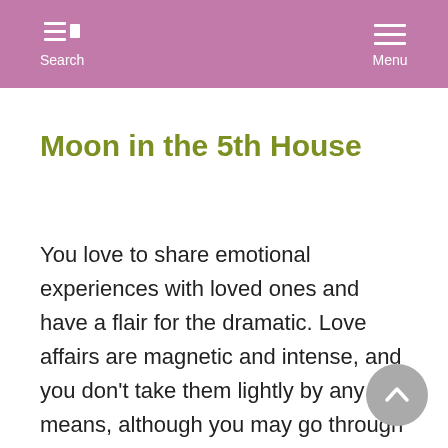Search  Menu
Moon in the 5th House
You love to share emotional experiences with loved ones and have a flair for the dramatic. Love affairs are magnetic and intense, and you don't take them lightly by any means, although you may go through much change with regard to your romances. You are attached to children, whether they're your own or not.